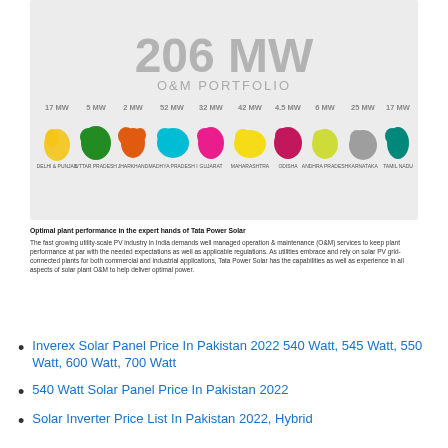[Figure (infographic): 206 MW O&M Portfolio infographic showing colored state map shapes of India with MW values: Delhi & Punjab 17MW, Uttar Pradesh 5MW, Jharkhand 2MW, Madhya Pradesh I 52MW, Gujarat 32MW, Maharashtra 42MW, Odisha 4.5MW, Andhra Pradesh 6MW, Karnataka 25MW, Tamil Nadu 17MW]
Optimal plant performance in the expert hands of Tata Power Solar
The fast growing utility-scale PV industry in India demands well managed operation & maintenance (O&M) services to keep plant performance at par with the needed expectations as well as applicable regulations. As utilities embrace and rely on solar PV grid-connected plants for both commercial and industrial applications, Tata Power Solar has the capabilities as well as experience in all aspects of solar plant O&M to help deliver optimal power.
Inverex Solar Panel Price In Pakistan 2022 540 Watt, 545 Watt, 550 Watt, 600 Watt, 700 Watt
540 Watt Solar Panel Price In Pakistan 2022
Solar Inverter Price List In Pakistan 2022, Hybrid